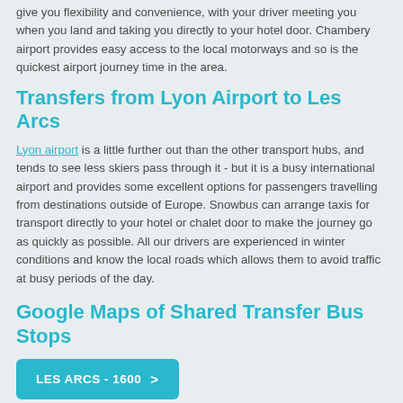give you flexibility and convenience, with your driver meeting you when you land and taking you directly to your hotel door.  Chambery airport provides easy access to the local motorways and so is the quickest airport journey time in the area.
Transfers from Lyon Airport to Les Arcs
Lyon airport is a little further out than the other transport hubs, and tends to see less skiers pass through it - but it is a busy international airport and provides some excellent options for passengers travelling from destinations outside of Europe.  Snowbus can arrange taxis for transport directly to your hotel or chalet door to make the journey go as quickly as possible.  All our drivers are experienced in winter conditions and know the local roads which allows them to avoid traffic at busy periods of the day.
Google Maps of Shared Transfer Bus Stops
LES ARCS - 1600